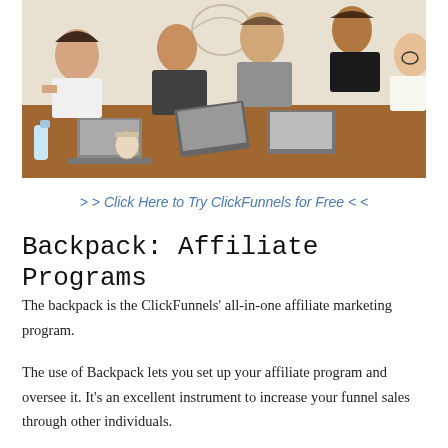[Figure (photo): Group of people working together on laptops around a wooden table in a collaborative workspace setting]
> > Click Here to Try ClickFunnels for Free < <
Backpack: Affiliate Programs
The backpack is the ClickFunnels' all-in-one affiliate marketing program.
The use of Backpack lets you set up your affiliate program and oversee it. It's an excellent instrument to increase your funnel sales through other individuals.